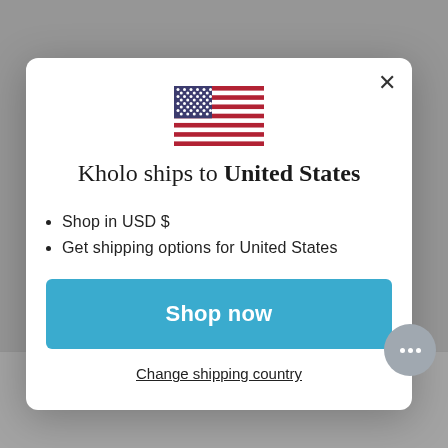[Figure (screenshot): Background of an e-commerce website with product listings partially visible behind a modal overlay. Bottom bar shows product text: PRE ORDER, RED - PRE ORDER, K... RE ORD with prices From $199.00 AUD and From $150.00 A.]
[Figure (illustration): US flag illustration in the modal dialog]
Kholo ships to United States
Shop in USD $
Get shipping options for United States
Shop now
Change shipping country